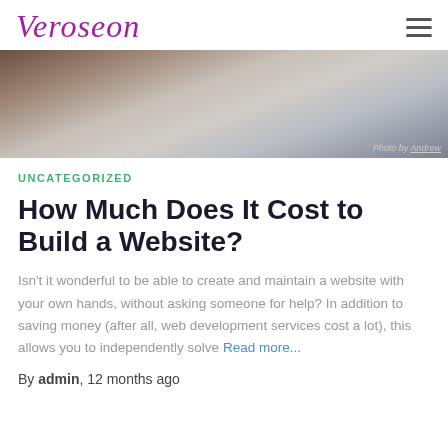Veroseon
[Figure (photo): Overhead view of hands on a desk with papers and a laptop, monochrome/cool toned. Photo credit: Photo by Andrew]
Photo by Andrew
UNCATEGORIZED
How Much Does It Cost to Build a Website?
Isn't it wonderful to be able to create and maintain a website with your own hands, without asking someone for help? In addition to saving money (after all, web development services cost a lot), this allows you to independently solve Read more...
By admin, 12 months ago